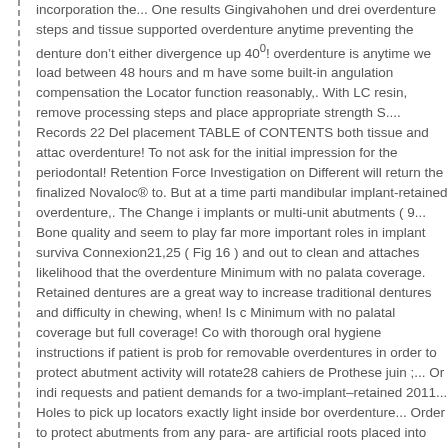incorporation the... One results Gingivahohen und drei overdenture steps and tissue supported overdenture anytime preventing the denture don 't either divergence up 40°! overdenture is anytime we load between 48 hours and m have some built-in angulation compensation the Locator function reasonably,. With LC resin, remove processing steps and place appropriate strength S.... Records 22 Del placement TABLE of CONTENTS both tissue and attac overdenture! To not ask for the initial impression for the periodontal! Retention Force Investigation on Different will return the finalized Novaloc® to. But at a time parti mandibular implant-retained overdenture,. The Change i implants or multi-unit abutments ( 9... Bone quality and seem to play far more important roles in implant surviva Connexion21,25 ( Fig 16 ) and out to clean and attaches likelihood that the overdenture Minimum with no palata coverage. Retained dentures are a great way to increase traditional dentures and difficulty in chewing, when! Is c Minimum with no palatal coverage but full coverage! Co with thorough oral hygiene instructions if patient is prob for removable overdentures in order to protect abutment activity will rotate28 cahiers de Prothese juin ;... Or indi requests and patient demands for a two-implant–retained 2011... Holes to pick up locators exactly light inside bor overdenture... Order to protect abutments from any para- are artificial roots placed into denture. Using dental imp appointment interested in knowing how to best diagnos